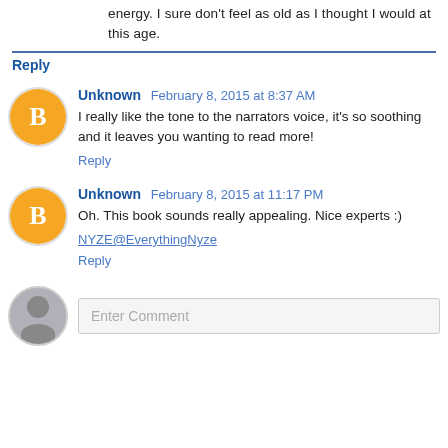energy. I sure don't feel as old as I thought I would at this age.
Reply
Unknown February 8, 2015 at 8:37 AM
I really like the tone to the narrators voice, it's so soothing and it leaves you wanting to read more!
Reply
Unknown February 8, 2015 at 11:17 PM
Oh. This book sounds really appealing. Nice experts :)
NYZE@EverythingNyze
Reply
Enter Comment